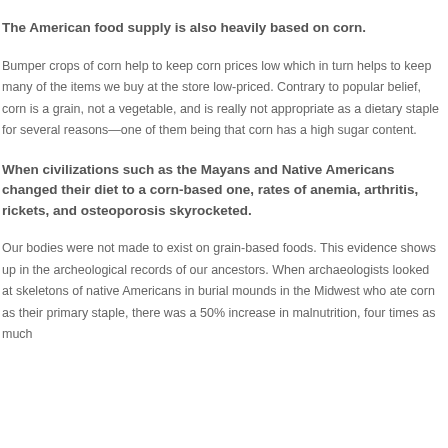The American food supply is also heavily based on corn.
Bumper crops of corn help to keep corn prices low which in turn helps to keep many of the items we buy at the store low-priced. Contrary to popular belief, corn is a grain, not a vegetable, and is really not appropriate as a dietary staple for several reasons—one of them being that corn has a high sugar content.
When civilizations such as the Mayans and Native Americans changed their diet to a corn-based one, rates of anemia, arthritis, rickets, and osteoporosis skyrocketed.
Our bodies were not made to exist on grain-based foods. This evidence shows up in the archeological records of our ancestors. When archaeologists looked at skeletons of native Americans in burial mounds in the Midwest who ate corn as their primary staple, there was a 50% increase in malnutrition, four times as much